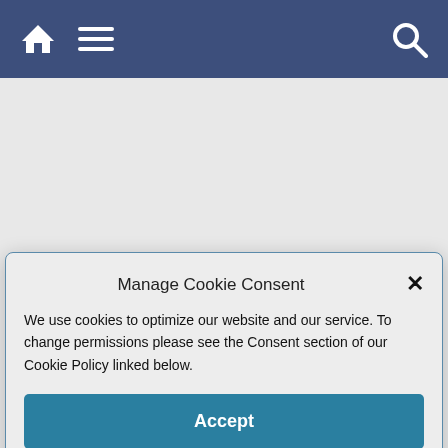Navigation bar with home, menu, and search icons
Manage Cookie Consent
We use cookies to optimize our website and our service. To change permissions please see the Consent section of our Cookie Policy linked below.
Accept
moving
◄ A Woman's Per...
Palm Sunday in ...